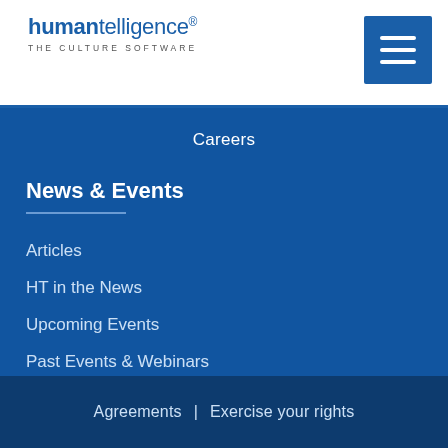humantelligence® THE CULTURE SOFTWARE
Careers
News & Events
Articles
HT in the News
Upcoming Events
Past Events & Webinars
Agreements  |  Exercise your rights